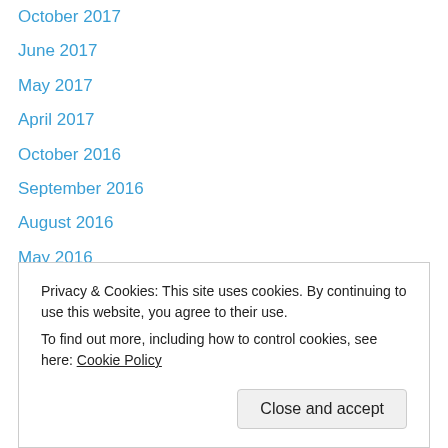October 2017
June 2017
May 2017
April 2017
October 2016
September 2016
August 2016
May 2016
April 2016
March 2016
February 2016
January 2016
October 2015
September 2015 (partial)
Privacy & Cookies: This site uses cookies. By continuing to use this website, you agree to their use.
To find out more, including how to control cookies, see here: Cookie Policy
January 2015